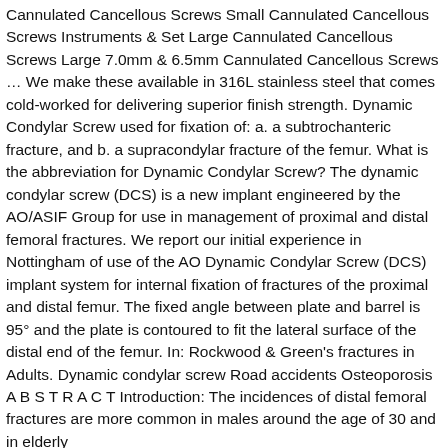Cannulated Cancellous Screws Small Cannulated Cancellous Screws Instruments & Set Large Cannulated Cancellous Screws Large 7.0mm & 6.5mm Cannulated Cancellous Screws … We make these available in 316L stainless steel that comes cold-worked for delivering superior finish strength. Dynamic Condylar Screw used for fixation of: a. a subtrochanteric fracture, and b. a supracondylar fracture of the femur. What is the abbreviation for Dynamic Condylar Screw? The dynamic condylar screw (DCS) is a new implant engineered by the AO/ASIF Group for use in management of proximal and distal femoral fractures. We report our initial experience in Nottingham of use of the AO Dynamic Condylar Screw (DCS) implant system for internal fixation of fractures of the proximal and distal femur. The fixed angle between plate and barrel is 95° and the plate is contoured to fit the lateral surface of the distal end of the femur. In: Rockwood & Green's fractures in Adults. Dynamic condylar screw Road accidents Osteoporosis A B S T R A C T Introduction: The incidences of distal femoral fractures are more common in males around the age of 30 and in elderly